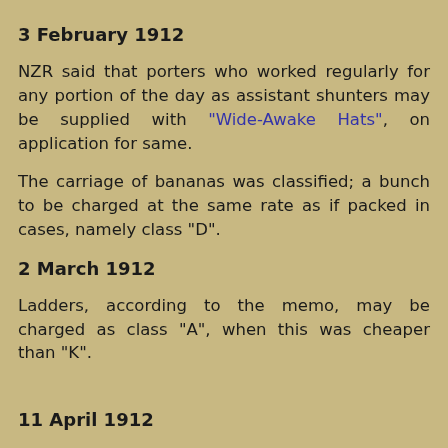3 February 1912
NZR said that porters who worked regularly for any portion of the day as assistant shunters may be supplied with "Wide-Awake Hats", on application for same.
The carriage of bananas was classified; a bunch to be charged at the same rate as if packed in cases, namely class "D".
2 March 1912
Ladders, according to the memo, may be charged as class "A", when this was cheaper than "K".
11 April 1912
Looking at the books was like stepping back to the early 20th century era of regimented government bureaucracy. It all made sense though, I suppose. For one thing, losing track